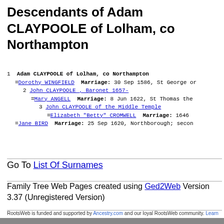Descendants of Adam CLAYPOOLE of Lolham, co Northampton
1  Adam CLAYPOOLE of Lolham, co Northampton
   =Dorothy WINGFIELD  Marriage: 30 Sep 1586, St George or...
      2 John CLAYPOOLE , Baronet 1657-
         =Mary ANGELL  Marriage: 8 Jun 1622, St Thomas the...
               3 John CLAYPOOLE of the Middle Temple
                  =Elizabeth "Betty" CROMWELL  Marriage: 1646...
   =Jane BIRD  Marriage: 25 Sep 1620, Northborough; secon...
Go To List Of Surnames
Family Tree Web Pages created using Ged2Web Version 3.37 (Unregistered Version)
RootsWeb is funded and supported by Ancestry.com and our loyal RootsWeb community. Learn...